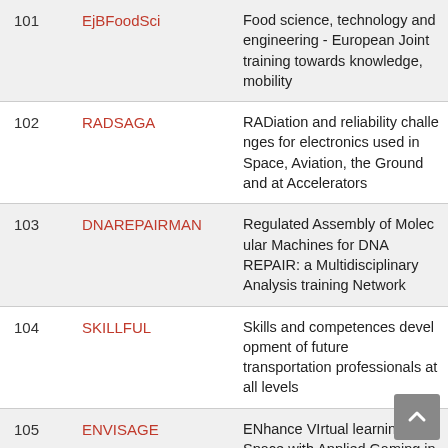| # | Acronym | Description |
| --- | --- | --- |
| 101 | EjBFoodSci | Food science, technology and engineering - European Joint training towards knowledge, mobility |
| 102 | RADSAGA | RADiation and reliability challenges for electronics used in Space, Aviation, the Ground and at Accelerators |
| 103 | DNAREPAIRMAN | Regulated Assembly of Molecular Machines for DNA REPAIR: a Multidisciplinary Analysis training Network |
| 104 | SKILLFUL | Skills and competences development of future transportation professionals at all levels |
| 105 | ENVISAGE | ENhance VIrtual learning Space with Applied Gaming in Education |
| 106 | IC-Health | Improving digital health literacy across Europe |